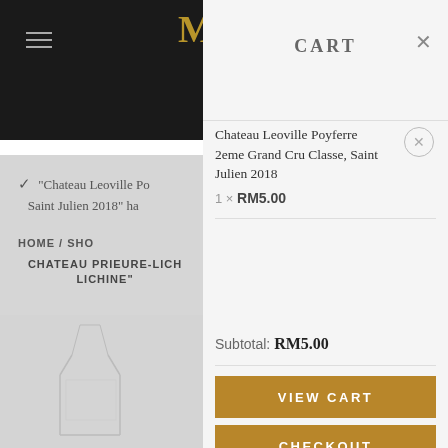CART
✓ "Chateau Leoville Po... Saint Julien 2018" ha...
HOME / SHO...
CHATEAU PRIEURE-LICH... LICHINE"...
Chateau Leoville Poyferre 2eme Grand Cru Classe, Saint Julien 2018
1 × RM5.00
Subtotal: RM5.00
VIEW CART
CHECKOUT